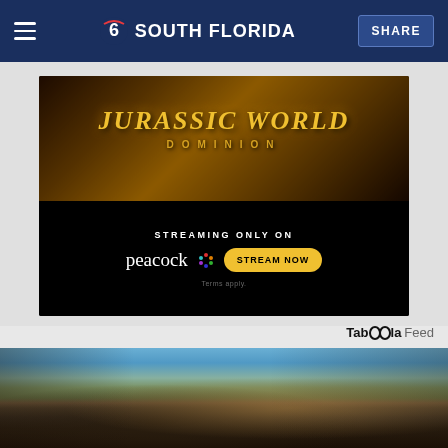NBC 6 South Florida — SHARE
[Figure (photo): Jurassic World Dominion advertisement — streaming only on Peacock, Stream Now button, Terms apply.]
Taboola Feed
[Figure (photo): Military soldier in camouflage uniform carrying heavy gear, bending forward with water or sweat, outdoors near water with blue sky.]